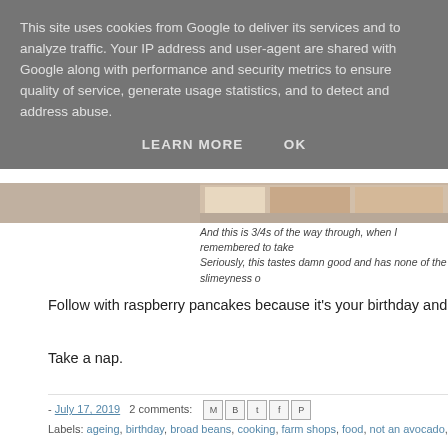This site uses cookies from Google to deliver its services and to analyze traffic. Your IP address and user-agent are shared with Google along with performance and security metrics to ensure quality of service, generate usage statistics, and to detect and address abuse.
LEARN MORE   OK
[Figure (photo): Partial view of food dish photo strip]
And this is 3/4s of the way through, when I remembered to take
Seriously, this tastes damn good and has none of the slimeyness o
Follow with raspberry pancakes because it's your birthday and you dam
Take a nap.
- July 17, 2019   2 comments:  [share icons]
Labels: ageing, birthday, broad beans, cooking, farm shops, food, not an avocado, summer, swi
Thursday, July 11, 2019
Middle Way or the High Way?